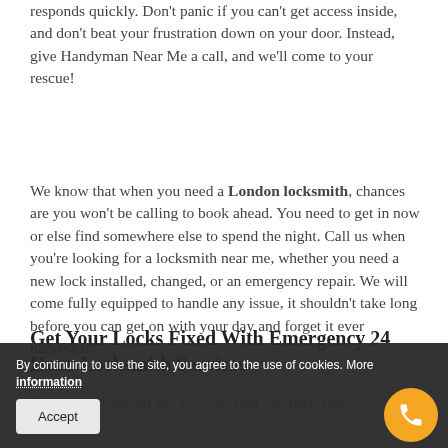responds quickly. Don't panic if you can't get access inside, and don't beat your frustration down on your door. Instead, give Handyman Near Me a call, and we'll come to your rescue!
We know that when you need a London locksmith, chances are you won't be calling to book ahead. You need to get in now or else find somewhere else to spend the night. Call us when you're looking for a locksmith near me, whether you need a new lock installed, changed, or an emergency repair. We will come fully equipped to handle any issue, it shouldn't take long before you can get on with your day and forget it ever happened.
Get Your Locks Fixed With Emergency 24 Hour Locksmith Services
Our tr... perform all so... ce... our trad... experts can help with.